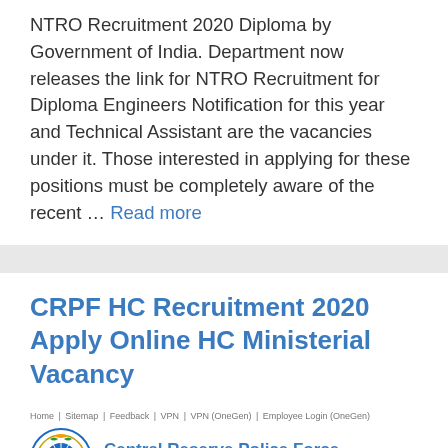NTRO Recruitment 2020 Diploma by Government of India. Department now releases the link for NTRO Recruitment for Diploma Engineers Notification for this year and Technical Assistant are the vacancies under it. Those interested in applying for these positions must be completely aware of the recent … Read more
CRPF HC Recruitment 2020 Apply Online HC Ministerial Vacancy
[Figure (screenshot): CRPF website screenshot showing navigation bar with Home, Sitemap, Feedback, VPN, VPN (OneGen), Employee Login (OneGen) links, and the Central Reserve Police Force logo with English and Hindi text]